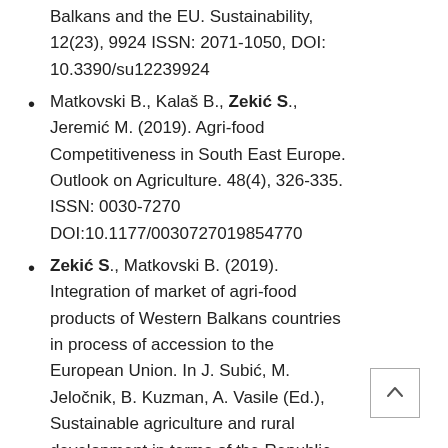Balkans and the EU. Sustainability, 12(23), 9924 ISSN: 2071-1050, DOI: 10.3390/su12239924
Matkovski B., Kalaš B., Zekić S., Jeremić M. (2019). Agri-food Competitiveness in South East Europe. Outlook on Agriculture. 48(4), 326-335. ISSN: 0030-7270 DOI:10.1177/0030727019854770
Zekić S., Matkovski B. (2019). Integration of market of agri-food products of Western Balkans countries in process of accession to the European Union. In J. Subić, M. Jeločnik, B. Kuzman, A. Vasile (Ed.), Sustainable agriculture and rural development in terms of the Republic